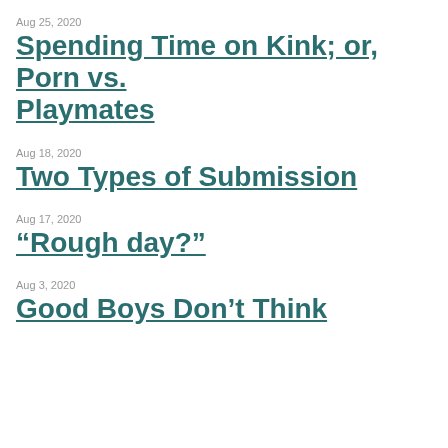Aug 25, 2020
Spending Time on Kink; or, Porn vs. Playmates
Aug 18, 2020
Two Types of Submission
Aug 17, 2020
“Rough day?”
Aug 3, 2020
Good Boys Don’t Think